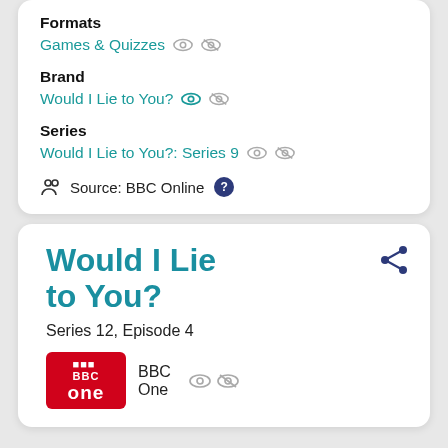Formats
Games & Quizzes
Brand
Would I Lie to You?
Series
Would I Lie to You?: Series 9
Source: BBC Online
Would I Lie to You?
Series 12, Episode 4
BBC One